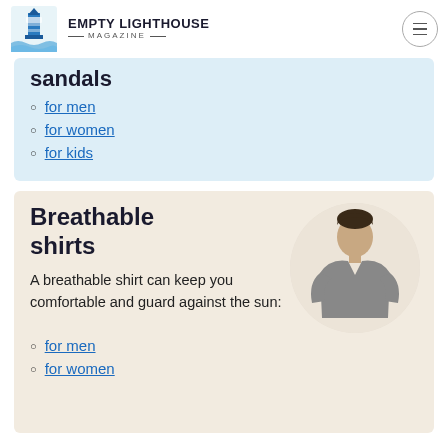Empty Lighthouse Magazine
sandals
for men
for women
for kids
Breathable shirts
[Figure (photo): Man wearing a grey breathable t-shirt, circular cropped photo]
A breathable shirt can keep you comfortable and guard against the sun:
for men
for women